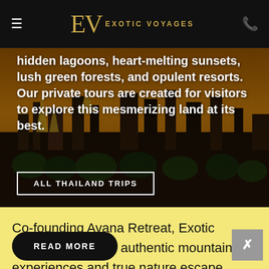≡  EV EXOTIC VOYAGES  📞
[Figure (photo): Aerial view of Bangkok cityscape at sunset with golden temples, green trees, and buildings under an orange sky]
hidden lagoons, heart-melting sunsets, lush green forests, and opulent resorts. Our private tours are created for visitors to explore this mesmerizing land at its best.
ALL THAILAND TRIPS
Co-founding Avana Retreat, Exotic Voyages longs for authentic mountain experiences and true nature escape
READ MORE